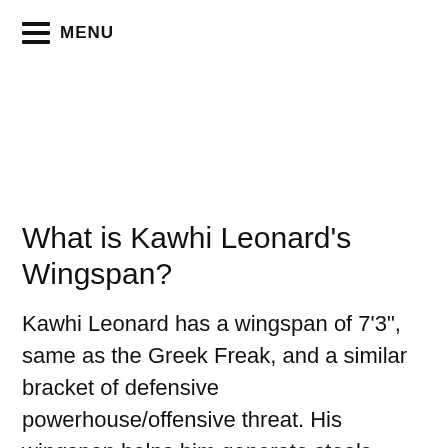MENU
What is Kawhi Leonard's Wingspan?
Kawhi Leonard has a wingspan of 7'3", same as the Greek Freak, and a similar bracket of defensive powerhouse/offensive threat. His wingspan helps him generate steals, blocked passes and blocked dribbling lanes. Leonard has an 11.5% increase in his wingspan from